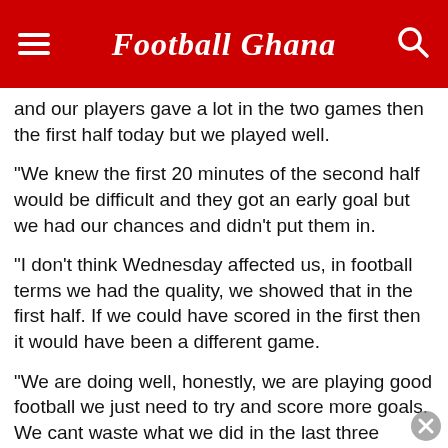Football Ghana
and our players gave a lot in the two games then the first half today but we played well.
"We knew the first 20 minutes of the second half would be difficult and they got an early goal but we had our chances and didn't put them in.
"I don't think Wednesday affected us, in football terms we had the quality, we showed that in the first half. If we could have scored in the first then it would have been a different game.
"We are doing well, honestly, we are playing good football we just need to try and score more goals. We cant waste what we did in the last three games and forget what we did. We just need to go back, watch our mistakes and try to learn from them.
"Stoke will be tough, but In front of our fans, I believe we can beat them at home, for sure."